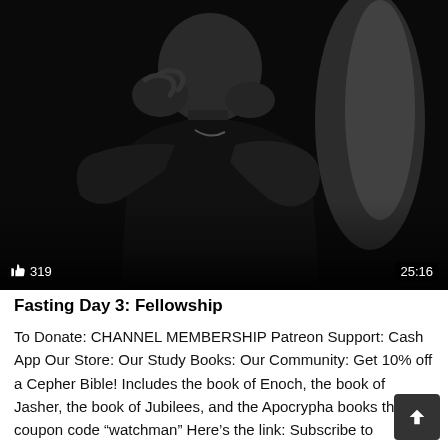[Figure (photo): Black and white photo thumbnail of a man with hands clasped near face appearing to be praying, with like count 319 and duration 25:16 overlaid]
Fasting Day 3: Fellowship
To Donate: CHANNEL MEMBERSHIP Patreon Support: Cash App Our Store: Our Study Books: Our Community: Get 10% off a Cepher Bible! Includes the book of Enoch, the book of Jasher, the book of Jubilees, and the Apocrypha books this coupon code “watchman” Here’s the link: Subscribe to